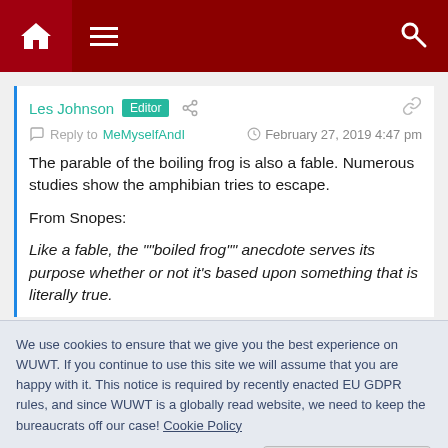WUWT website navigation bar with home, menu, and search icons
Les Johnson  Editor
Reply to MeMyselfAndI  February 27, 2019 4:47 pm
The parable of the boiling frog is also a fable. Numerous studies show the amphibian tries to escape.
From Snopes:
Like a fable, the ""boiled frog"" anecdote serves its purpose whether or not it's based upon something that is literally true.
We use cookies to ensure that we give you the best experience on WUWT. If you continue to use this site we will assume that you are happy with it. This notice is required by recently enacted EU GDPR rules, and since WUWT is a globally read website, we need to keep the bureaucrats off our case! Cookie Policy
Close and accept